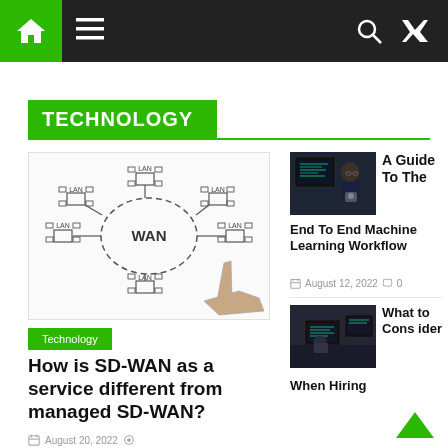Navigation bar with home icon, menu icon, search icon, shuffle icon
TECHNOLOGY
[Figure (illustration): WAN network diagram showing a central WAN cloud connected to multiple LAN nodes arranged in a circle, with a hand pointing at the diagram]
Technology
How is SD-WAN as a service different from managed SD-WAN?
August 20, 2022
[Figure (photo): Person working at a computer with multiple monitors showing code]
A Guide To The End To End Machine Learning Workflow
August 12, 2022  0
[Figure (photo): Person sitting at computer workstation viewed from behind in a dark room]
What to Consider When Hiring